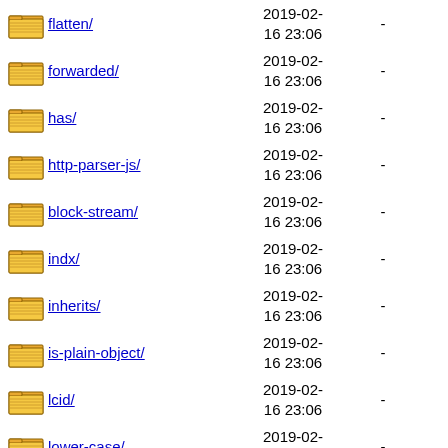flatten/ 2019-02-16 23:06 -
forwarded/ 2019-02-16 23:06 -
has/ 2019-02-16 23:06 -
http-parser-js/ 2019-02-16 23:06 -
block-stream/ 2019-02-16 23:06 -
indx/ 2019-02-16 23:06 -
inherits/ 2019-02-16 23:06 -
is-plain-object/ 2019-02-16 23:06 -
lcid/ 2019-02-16 23:06 -
lower-case/ 2019-02-16 23:06 -
media-typer/ 2019-02-16 23:06 -